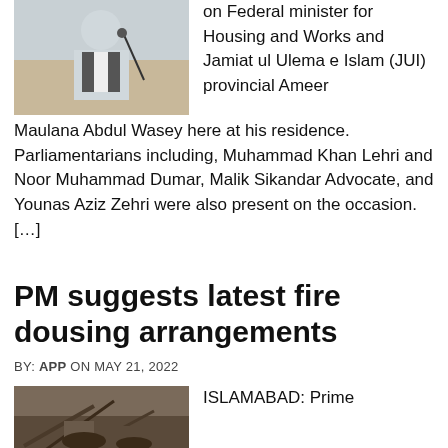[Figure (photo): Man at podium, black and white photo]
on Federal minister for Housing and Works and Jamiat ul Ulema e Islam (JUI) provincial Ameer Maulana Abdul Wasey here at his residence. Parliamentarians including, Muhammad Khan Lehri and Noor Muhammad Dumar, Malik Sikandar Advocate, and Younas Aziz Zehri were also present on the occasion. […]
PM suggests latest fire dousing arrangements
BY: APP ON MAY 21, 2022
[Figure (photo): Photo related to fire or disaster scene]
ISLAMABAD: Prime